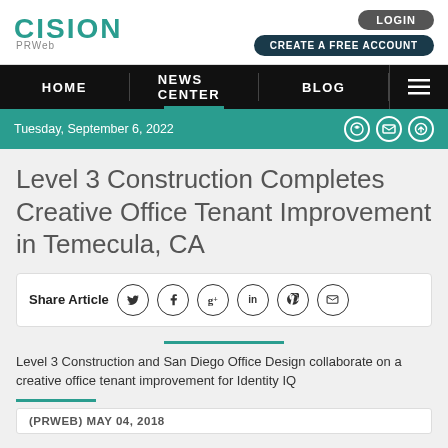CISION PRWeb — LOGIN — CREATE A FREE ACCOUNT
HOME | NEWS CENTER | BLOG
Tuesday, September 6, 2022
Level 3 Construction Completes Creative Office Tenant Improvement in Temecula, CA
Share Article
Level 3 Construction and San Diego Office Design collaborate on a creative office tenant improvement for Identity IQ
(PRWEB) MAY 04, 2018